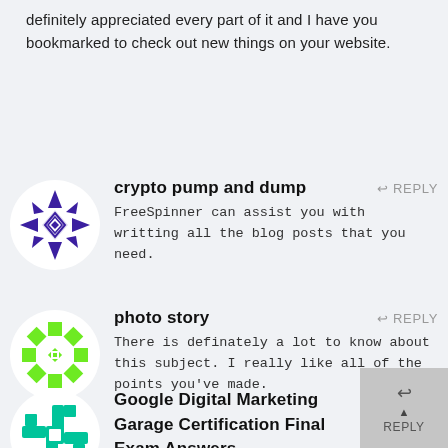definitely appreciated every part of it and I have you bookmarked to check out new things on your website.
[Figure (illustration): Purple geometric snowflake/star avatar icon in a circle]
crypto pump and dump
FreeSpinner can assist you with writting all the blog posts that you need.
[Figure (illustration): Green geometric snowflake/star avatar icon in a circle]
photo story
There is definately a lot to know about this subject. I really like all of the points you've made.
[Figure (illustration): Teal/cyan geometric swastika-like avatar icon in a circle]
Google Digital Marketing Garage Certification Final Exam Answers